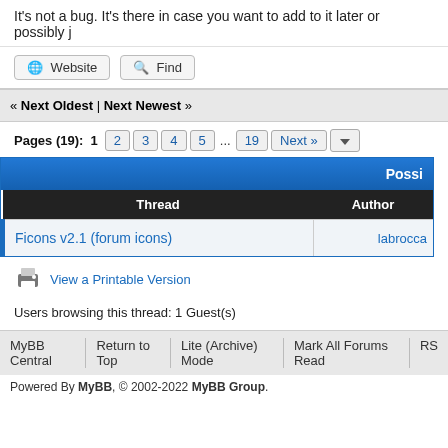It's not a bug. It's there in case you want to add to it later or possibly j
Website   Find
« Next Oldest | Next Newest »
Pages (19):  1  2  3  4  5  ...  19  Next »
| Thread | Author |
| --- | --- |
| Ficons v2.1 (forum icons) | labrocca |
View a Printable Version
Users browsing this thread: 1 Guest(s)
MyBB Central   Return to Top   Lite (Archive) Mode   Mark All Forums Read   RS
Powered By MyBB, © 2002-2022 MyBB Group.